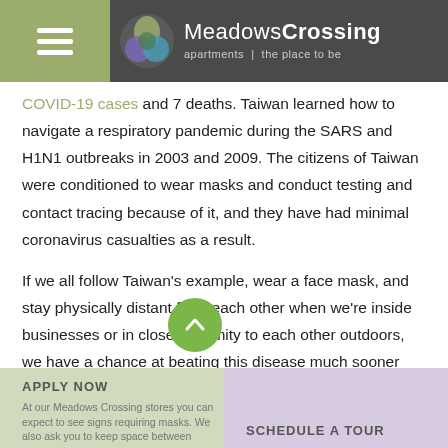MeadowsCrossing apartments | the place to be
COVID-19 cases and 7 deaths. Taiwan learned how to navigate a respiratory pandemic during the SARS and H1N1 outbreaks in 2003 and 2009. The citizens of Taiwan were conditioned to wear masks and conduct testing and contact tracing because of it, and they have had minimal coronavirus casualties as a result.
If we all follow Taiwan's example, wear a face mask, and stay physically distant from each other when we're inside businesses or in close proximity to each other outdoors, we have a chance at beating this disease much sooner than if we ignore and hope it goes away.
APPLY NOW   SCHEDULE A TOUR   At our Meadows Crossing stores you can expect to see signs requiring masks. We also ask you to keep space between